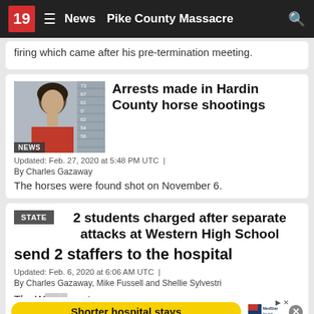19 News Pike County Massacre
firing which came after his pre-termination meeting.
Arrests made in Hardin County horse shootings
Updated: Feb. 27, 2020 at 5:48 PM UTC
By Charles Gazaway
The horses were found shot on November 6.
2 students charged after separate attacks at Western High School send 2 staffers to the hospital
Updated: Feb. 6, 2020 at 6:06 AM UTC
By Charles Gazaway, Mike Fussell and Shellie Sylvestri
The W... at Weste... ne in
[Figure (screenshot): Advertisement banner: Shorter hospital stays - MedStar Health]